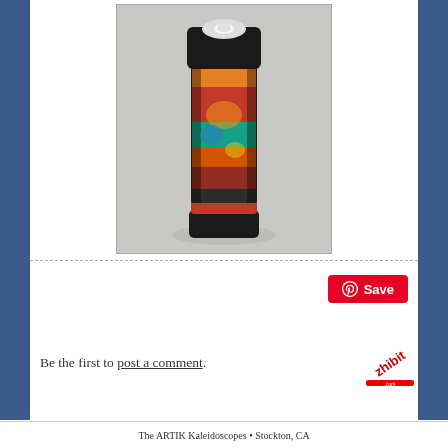[Figure (photo): A cylindrical kaleidoscope with a black top and bottom cap, colorful middle section with red, orange, yellow, green, and blue patterns, standing upright on a light gray surface.]
Be the first to post a comment.
The ARTIK Kaleidoscopes • Stockton, CA